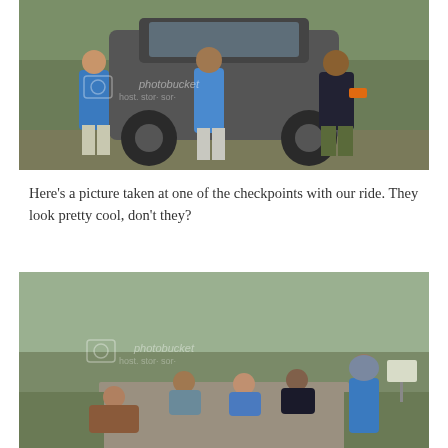[Figure (photo): Group of people posing in front of a large dark 4x4 jeep/SUV in a green wooded outdoor area. People wearing blue shirts and camouflage pants. Photobucket watermark visible.]
Here’s a picture taken at one of the checkpoints with our ride. They look pretty cool, don’t they?
[Figure (photo): Group of people crouching and sitting on a dirt road/trail surrounded by trees and greenery. One person standing on right wearing blue top and hijab. Photobucket watermark visible.]